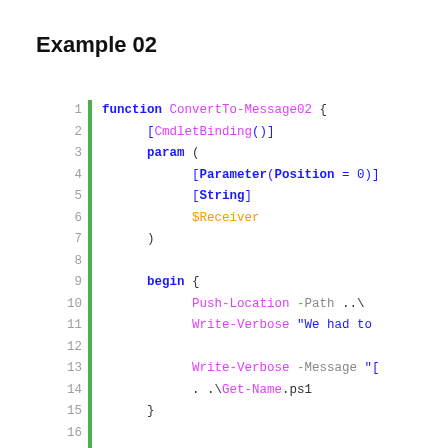Example 02
[Figure (screenshot): PowerShell code block showing function ConvertTo-Message02 with CmdletBinding, param block with Parameter Position=0, String, $Receiver, begin block with Push-Location, Write-Verbose calls, and process block with $GetNameParams = @{} and an if statement, with green vertical bar and line numbers 1-20.]